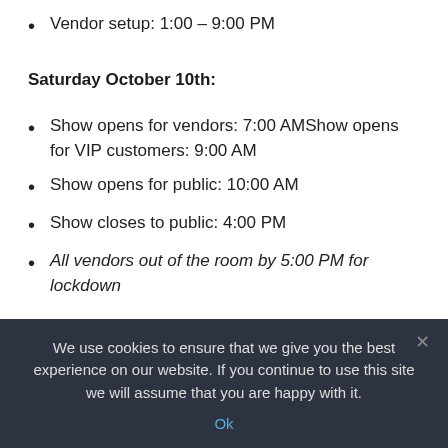Vendor setup: 1:00 – 9:00 PM
Saturday October 10th:
Show opens for vendors: 7:00 AMShow opens for VIP customers: 9:00 AM
Show opens for public: 10:00 AM
Show closes to public: 4:00 PM
All vendors out of the room by 5:00 PM for lockdown
Sunday October 11th:
We use cookies to ensure that we give you the best experience on our website. If you continue to use this site we will assume that you are happy with it.
Ok